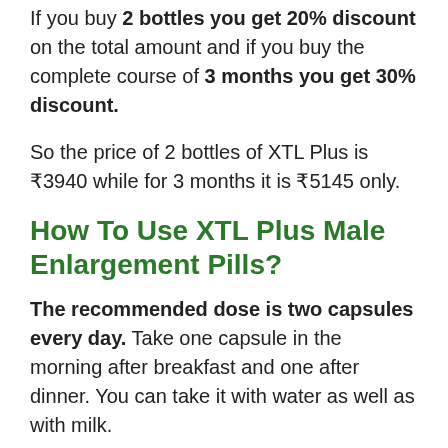If you buy 2 bottles you get 20% discount on the total amount and if you buy the complete course of 3 months you get 30% discount.
So the price of 2 bottles of XTL Plus is ₹3940 while for 3 months it is ₹5145 only.
How To Use XTL Plus Male Enlargement Pills?
The recommended dose is two capsules every day. Take one capsule in the morning after breakfast and one after dinner. You can take it with water as well as with milk.
For best results, we recommend a course of 3 months. Please note that results do vary from person to person and you may have to adjust your dosage and course duration as per the